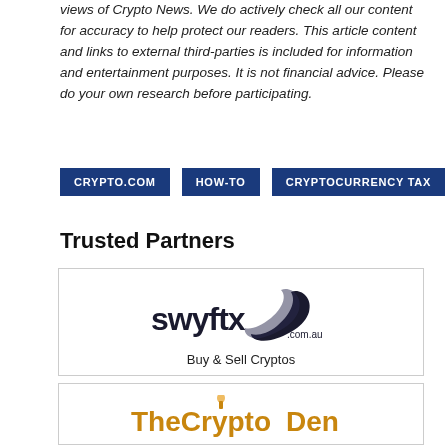views of Crypto News. We do actively check all our content for accuracy to help protect our readers. This article content and links to external third-parties is included for information and entertainment purposes. It is not financial advice. Please do your own research before participating.
CRYPTO.COM
HOW-TO
CRYPTOCURRENCY TAX
Trusted Partners
[Figure (logo): Swyftx .com.au logo — stylized bird/swoosh mark with 'swyftx' in dark text and '.com.au' subtitle]
Buy & Sell Cryptos
[Figure (logo): TheCryptoDen logo — gold/brown stylized text with a lit candle or torch icon above the 'D']
Crypto Trading Education